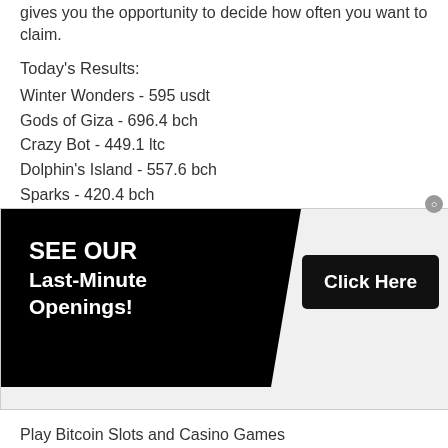gives you the opportunity to decide how often you want to claim.
Today's Results:
Winter Wonders - 595 usdt
Gods of Giza - 696.4 bch
Crazy Bot - 449.1 ltc
Dolphin's Island - 557.6 bch
Sparks - 420.4 bch
Phantom Thief - 728.2 bch
Sweet Paradise - 439.6 eth
Ambiance - 551.5 dog
Wild Carnival - 28.7 btc
Star Jewels - 176 eth
Ice Hockey - 214.7 btc
Big Blox - 481.1 ltc
[Figure (other): Advertisement banner: SEE OUR Last-Minute Openings! with Click Here button]
Play Bitcoin Slots and Casino Games